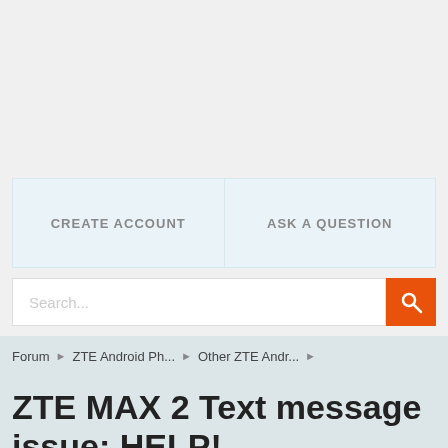[Figure (screenshot): Gray top area representing an advertisement or banner placeholder]
CREATE ACCOUNT
ASK A QUESTION
Search...
Forum ▶ ZTE Android Ph... ▶ Other ZTE Andr... ▶
ZTE MAX 2 Text message issue: HELP!